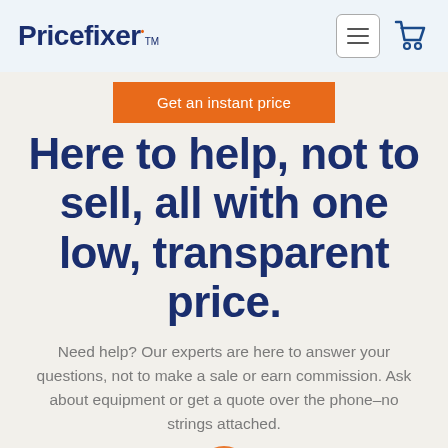Pricefixer
Get an instant price
Here to help, not to sell, all with one low, transparent price.
Need help? Our experts are here to answer your questions, not to make a sale or earn commission. Ask about equipment or get a quote over the phone–no strings attached.